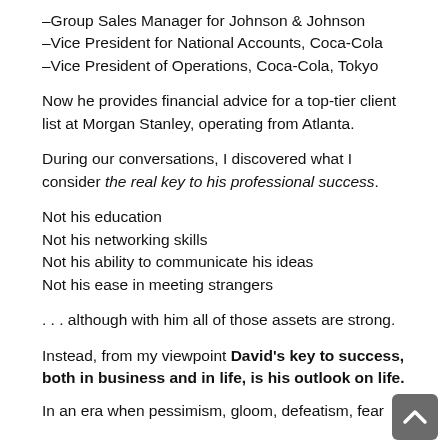–Group Sales Manager for Johnson & Johnson
–Vice President for National Accounts, Coca-Cola
–Vice President of Operations, Coca-Cola, Tokyo
Now he provides financial advice for a top-tier client list at Morgan Stanley, operating from Atlanta.
During our conversations, I discovered what I consider the real key to his professional success.
Not his education
Not his networking skills
Not his ability to communicate his ideas
Not his ease in meeting strangers
. . . although with him all of those assets are strong.
Instead, from my viewpoint David's key to success, both in business and in life, is his outlook on life.
In an era when pessimism, gloom, defeatism, fear